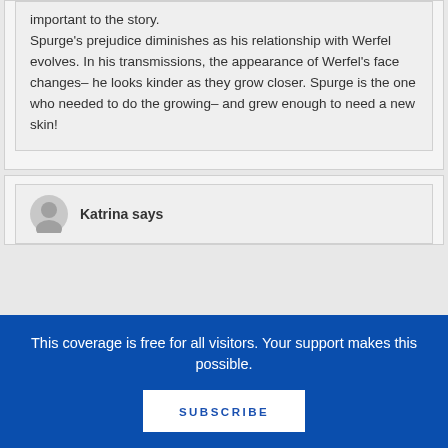important to the story. Spurge's prejudice diminishes as his relationship with Werfel evolves. In his transmissions, the appearance of Werfel's face changes– he looks kinder as they grow closer. Spurge is the one who needed to do the growing– and grew enough to need a new skin!
Katrina says
This coverage is free for all visitors. Your support makes this possible.
SUBSCRIBE